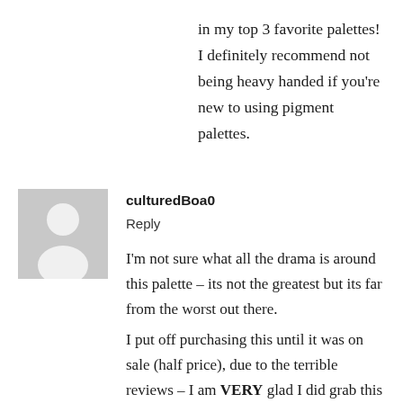in my top 3 favorite palettes! I definitely recommend not being heavy handed if you're new to using pigment palettes.
[Figure (illustration): Generic grey user avatar silhouette placeholder image]
culturedBoa0
Reply
I'm not sure what all the drama is around this palette – its not the greatest but its far from the worst out there.
I put off purchasing this until it was on sale (half price), due to the terrible reviews – I am VERY glad I did grab this because it's a very unique palette IMO and quite –